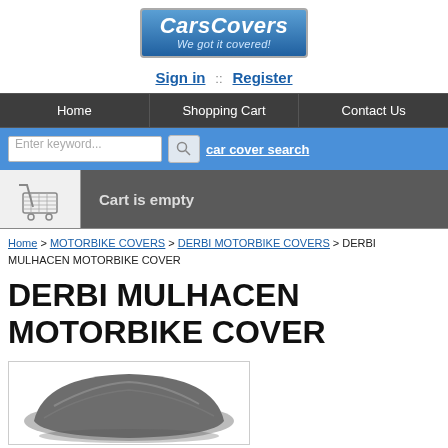[Figure (logo): CarsCovers logo with blue gradient background, italic text 'CarsCovers' and tagline 'We got it covered!']
Sign in :: Register
Home  Shopping Cart  Contact Us
Enter keyword...  car cover search
[Figure (illustration): Shopping cart icon in a gray bar with text 'Cart is empty']
Home > MOTORBIKE COVERS > DERBI MOTORBIKE COVERS > DERBI MULHACEN MOTORBIKE COVER
DERBI MULHACEN MOTORBIKE COVER
[Figure (photo): A motorbike covered with a gray/dark motorbike cover, shown from the side in a white-bordered box]